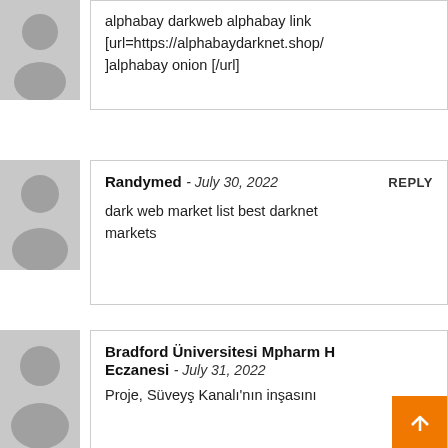alphabay darkweb alphabay link [url=https://alphabaydarknet.shop/]alphabay onion [/url]
Randymed - July 30, 2022  REPLY
dark web market list best darknet markets
Bradford Üniversitesi Mpharm H Eczanesi - July 31, 2022
Proje, Süveyş Kanalı'nın inşasını